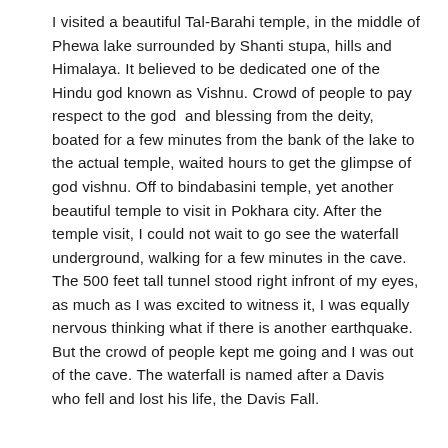I visited a beautiful Tal-Barahi temple, in the middle of Phewa lake surrounded by Shanti stupa, hills and Himalaya. It believed to be dedicated one of the Hindu god known as Vishnu. Crowd of people to pay respect to the god  and blessing from the deity, boated for a few minutes from the bank of the lake to the actual temple, waited hours to get the glimpse of god vishnu. Off to bindabasini temple, yet another beautiful temple to visit in Pokhara city. After the temple visit, I could not wait to go see the waterfall underground, walking for a few minutes in the cave. The 500 feet tall tunnel stood right infront of my eyes, as much as I was excited to witness it, I was equally nervous thinking what if there is another earthquake. But the crowd of people kept me going and I was out of the cave. The waterfall is named after a Davis  who fell and lost his life, the Davis Fall.